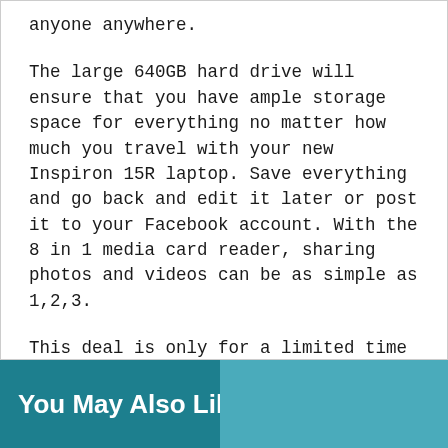anyone anywhere.
The large 640GB hard drive will ensure that you have ample storage space for everything no matter how much you travel with your new Inspiron 15R laptop. Save everything and go back and edit it later or post it to your Facebook account. With the 8 in 1 media card reader, sharing photos and videos can be as simple as 1,2,3.
This deal is only for a limited time and this is a great time to save big on that new laptop you always wanted and needed. Take a look at this Inspiron 15R deal before its gone and get yours for only $449.99.
You May Also Like